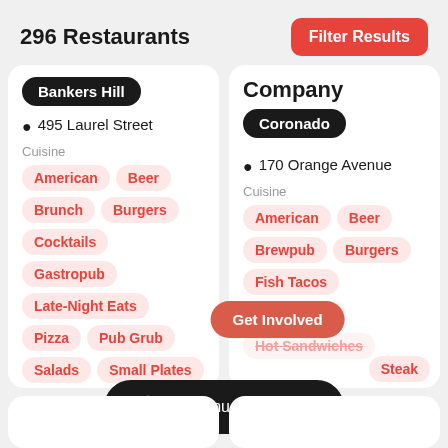296 Restaurants
Filter Results
Bankers Hill
495 Laurel Street
Cuisine
American
Beer
Brunch
Burgers
Cocktails
Gastropub
Late-Night Eats
Pizza
Pub Grub
Salads
Small Plates
Company
Coronado
170 Orange Avenue
Cuisine
American
Beer
Brewpub
Burgers
Fish Tacos
Happy Hour
Hot Sandwiches
Steak
Get Involved
Menu